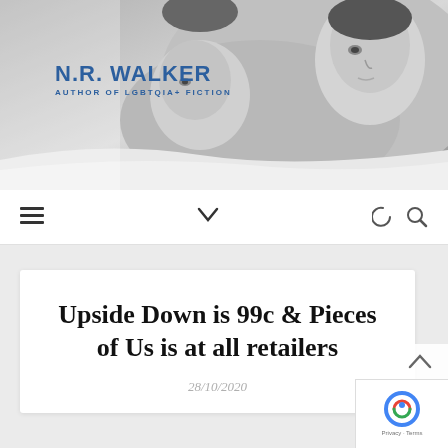[Figure (photo): Black and white photo of two men lying down, used as website header banner for N.R. Walker author site]
N.R. WALKER
AUTHOR OF LGBTQIA+ FICTION
[Figure (screenshot): Navigation bar with hamburger menu icon, chevron/dropdown icon, moon/dark mode icon, and search icon]
Upside Down is 99c & Pieces of Us is at all retailers
28/10/2020